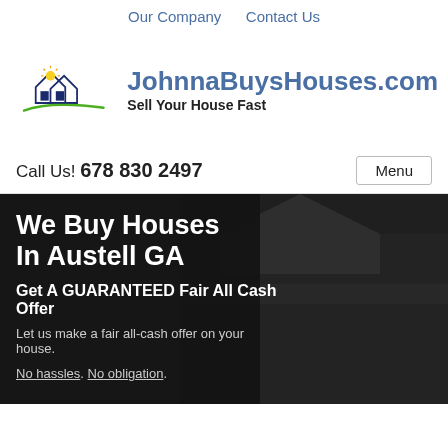Our Company   Contact Us
[Figure (logo): JohnnaBuysHouses.com logo with two house outlines, a sun, and green swoosh. Text: JohnnaBuysHouses.com Sell Your House Fast]
Call Us! 678 830 2497
Menu
We Buy Houses In Austell GA
Get A GUARANTEED Fair All Cash Offer
Let us make a fair all-cash offer on your house.
No hassles. No obligation.